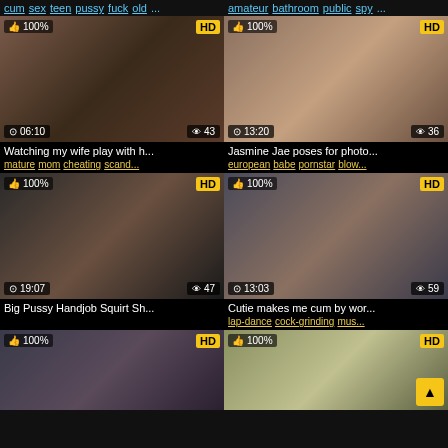cum sex teen pussy fuck old ... | amateur bathroom public spy...
[Figure (photo): Video thumbnail 1 - close up, 06:10, 43 views, 100% HD]
[Figure (photo): Video thumbnail 2 - 13:20, 36 views, 100% HD]
Watching my wife play with h...
mature mom cheating scand...
Jasmine Jae poses for photo...
european babe pornstar blow...
[Figure (photo): Video thumbnail 3 - 19:07, 47 views, 100% HD]
[Figure (photo): Video thumbnail 4 - 13:03, 59 views, 100% HD]
Big Pussy Handjob Squirt Sh...
Cutie makes me cum by wor...
lap-dance cock-grinding mus...
[Figure (photo): Video thumbnail 5 - 100% HD partial]
[Figure (photo): Video thumbnail 6 - 100% HD partial]